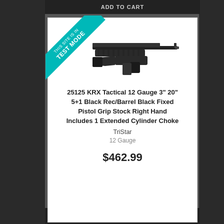[Figure (screenshot): Website screenshot showing a product listing page in test mode with a teal 'THIS SITE IS IN TEST MODE' ribbon banner in the top-left corner]
[Figure (photo): Photo of a KRX Tactical 12 Gauge shotgun with black synthetic stock and pistol grip, facing right]
25125 KRX Tactical 12 Gauge 3" 20" 5+1 Black Rec/Barrel Black Fixed Pistol Grip Stock Right Hand Includes 1 Extended Cylinder Choke
TriStar
12 Gauge
$462.99